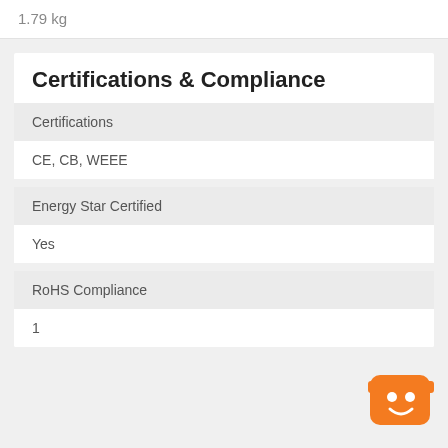1.79 kg
Certifications & Compliance
| Field | Value |
| --- | --- |
| Certifications | CE, CB, WEEE |
| Energy Star Certified | Yes |
| RoHS Compliance | 1 |